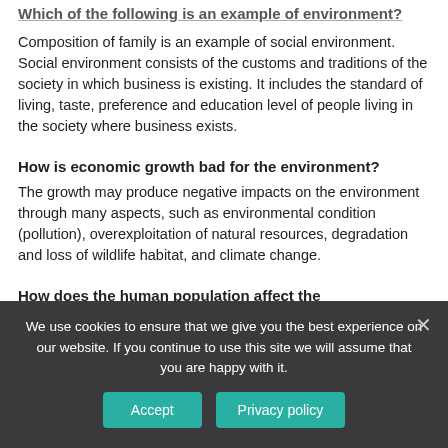Which of the following is an example of environment?
Composition of family is an example of social environment. Social environment consists of the customs and traditions of the society in which business is existing. It includes the standard of living, taste, preference and education level of people living in the society where business exists.
How is economic growth bad for the environment?
The growth may produce negative impacts on the environment through many aspects, such as environmental condition (pollution), overexploitation of natural resources, degradation and loss of wildlife habitat, and climate change.
How does the human population affect the
We use cookies to ensure that we give you the best experience on our website. If you continue to use this site we will assume that you are happy with it.
Accept | Privacy policy